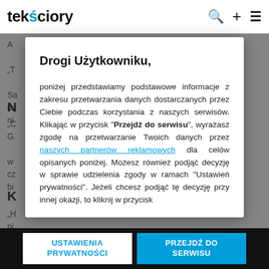tekściory
Drogi Użytkowniku,
poniżej przedstawiamy podstawowe informacje z zakresu przetwarzania danych dostarczanych przez Ciebie podczas korzystania z naszych serwisów. Klikając w przycisk "Przejdź do serwisu", wyrażasz zgodę na przetwarzanie Twoich danych przez naszych partnerów reklamowych dla celów opisanych poniżej. Możesz również podjąć decyzję w sprawie udzielenia zgody w ramach "Ustawień prywatności". Jeżeli chcesz podjąć tę decyzję przy innej okazji, to kliknij w przycisk
USTAWIENIA PRYWATNOŚCI
PRZEJDŹ DO SERWISU